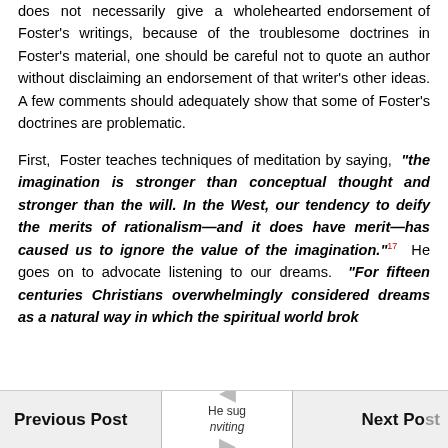does not necessarily give a wholehearted endorsement of Foster's writings, because of the troublesome doctrines in Foster's material, one should be careful not to quote an author without disclaiming an endorsement of that writer's other ideas. A few comments should adequately show that some of Foster's doctrines are problematic.
First, Foster teaches techniques of meditation by saying, "the imagination is stronger than conceptual thought and stronger than the will. In the West, our tendency to deify the merits of rationalism—and it does have merit—has caused us to ignore the value of the imagination."17 He goes on to advocate listening to our dreams. "For fifteen centuries Christians overwhelmingly considered dreams as a natural way in which the spiritual world broke [...]" He sug[gests inviting]...
Previous Post | He suggests inviting | Next Post